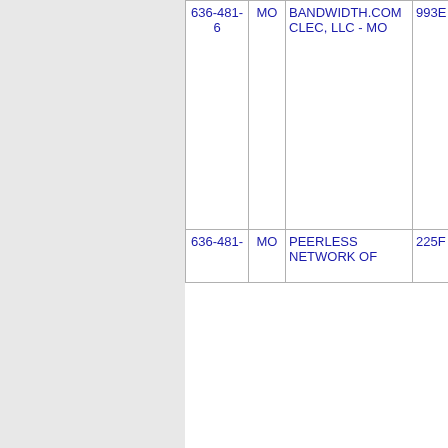| Phone | State | Company | Code |
| --- | --- | --- | --- |
| 636-481-6 | MO | BANDWIDTH.COM CLEC, LLC - MO | 993E |
| 636-481- | MO | PEERLESS NETWORK OF | 225F |